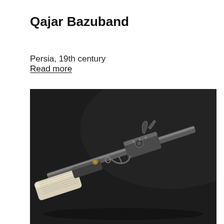Qajar Bazuband
Persia, 19th century
Read more
[Figure (photo): Photograph of a Qajar Bazuband (flintlock musket/pistol) on a dark black background. The firearm is shown diagonally, with metal lock mechanism visible, ivory or bone stock, and long barrel extending to the upper right.]